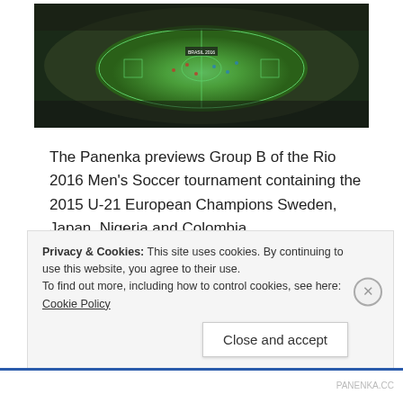[Figure (photo): Aerial view of a large football/soccer stadium filled with spectators, green pitch visible in the center]
The Panenka previews Group B of the Rio 2016 Men's Soccer tournament containing the 2015 U-21 European Champions Sweden, Japan, Nigeria and Colombia.
//
Continue reading →
Privacy & Cookies: This site uses cookies. By continuing to use this website, you agree to their use.
To find out more, including how to control cookies, see here: Cookie Policy
Close and accept